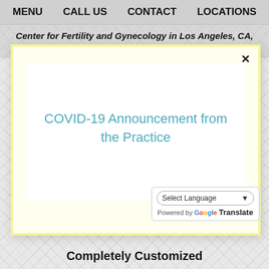MENU   CALL US   CONTACT   LOCATIONS
Center for Fertility and Gynecology in Los Angeles, CA, can help you overcome infertility...
COVID-19 Announcement from the Practice
[Figure (illustration): Teal gear icon with a pencil/edit symbol overlay]
Select Language - Powered by Google Translate
Completely Customized